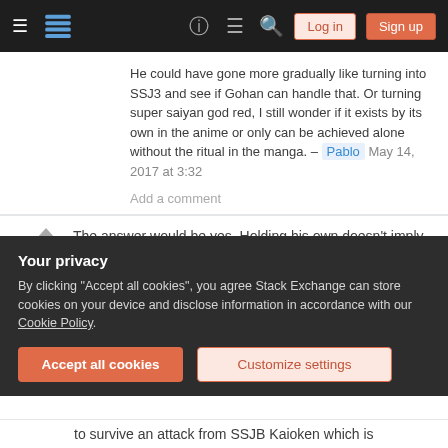[Figure (screenshot): Stack Exchange navigation bar with hamburger menu, logo, icons, Log in and Sign up buttons]
He could have gone more gradually like turning into SSJ3 and see if Gohan can handle that. Or turning super saiyan god red, I still wonder if it exists by its own in the anime or only can be achieved alone without the ritual in the manga. – Pablo May 14, 2017 at 3:32
Add a comment
The answer would be yes. Holding his own doesn't imply him being able to straight up defeat Goku. I'd
Your privacy
By clicking "Accept all cookies", you agree Stack Exchange can store cookies on your device and disclose information in accordance with our Cookie Policy.
Accept all cookies
Customize settings
to survive an attack from SSJB Kaioken which is